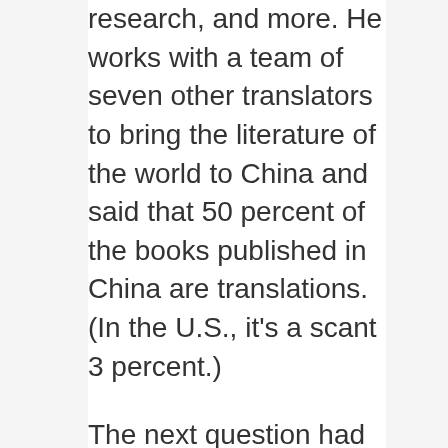research, and more. He works with a team of seven other translators to bring the literature of the world to China and said that 50 percent of the books published in China are translations. (In the U.S., it's a scant 3 percent.)
The next question had to do with loyalty — to the reader, to the original work, and to the author. The panelists talked about the translator-author relationship, and Mara said that loyalty to the text is different from loyalty to the author. They talked about the need to change